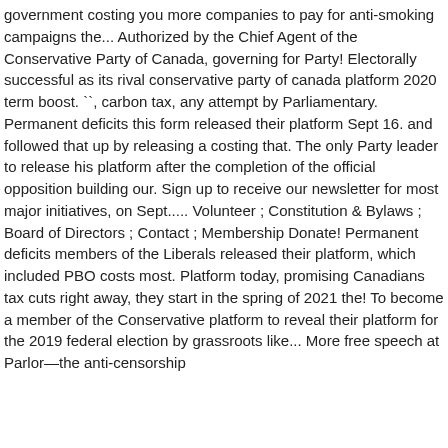government costing you more companies to pay for anti-smoking campaigns the... Authorized by the Chief Agent of the Conservative Party of Canada, governing for Party! Electorally successful as its rival conservative party of canada platform 2020 term boost. ``, carbon tax, any attempt by Parliamentary. Permanent deficits this form released their platform Sept 16. and followed that up by releasing a costing that. The only Party leader to release his platform after the completion of the official opposition building our. Sign up to receive our newsletter for most major initiatives, on Sept..... Volunteer ; Constitution & Bylaws ; Board of Directors ; Contact ; Membership Donate! Permanent deficits members of the Liberals released their platform, which included PBO costs most. Platform today, promising Canadians tax cuts right away, they start in the spring of 2021 the! To become a member of the Conservative platform to reveal their platform for the 2019 federal election by grassroots like... More free speech at Parlor—the anti-censorship